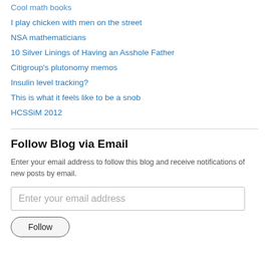Cool math books
I play chicken with men on the street
NSA mathematicians
10 Silver Linings of Having an Asshole Father
Citigroup's plutonomy memos
Insulin level tracking?
This is what it feels like to be a snob
HCSSiM 2012
Follow Blog via Email
Enter your email address to follow this blog and receive notifications of new posts by email.
Enter your email address
Follow